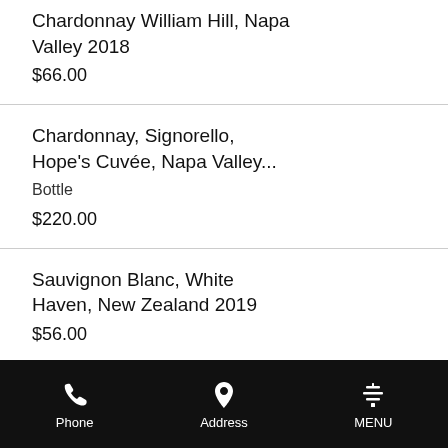Chardonnay William Hill, Napa Valley 2018
$66.00
Chardonnay, Signorello, Hope's Cuvée, Napa Valley...
Bottle
$220.00
Sauvignon Blanc, White Haven, New Zealand 2019
$56.00
Sauvignon Blanc, Merriam
Phone   Address   MENU